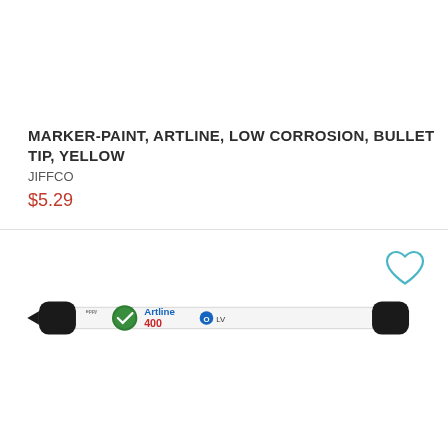MARKER-PAINT, ARTLINE, LOW CORROSION, BULLET TIP, YELLOW
JIFFCO
$5.29
[Figure (photo): Artline 400 paint marker with bullet tip, white barrel with green and blue logo and red/blue text, black cap and tip end]
[Figure (illustration): Heart/wishlist outline icon in teal/cyan color]